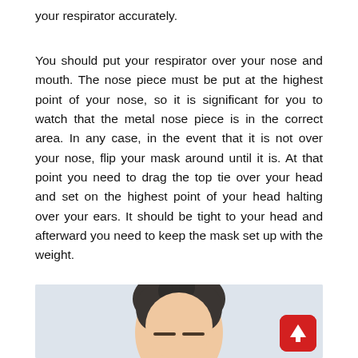your respirator accurately.
You should put your respirator over your nose and mouth. The nose piece must be put at the highest point of your nose, so it is significant for you to watch that the metal nose piece is in the correct area. In any case, in the event that it is not over your nose, flip your mask around until it is. At that point you need to drag the top tie over your head and set on the highest point of your head halting over your ears. It should be tight to your head and afterward you need to keep the mask set up with the weight.
[Figure (photo): Photo of a person's face from the forehead down, showing top of head with dark hair, light background. A red rounded square button with an upward arrow (scroll-to-top) is overlaid in the bottom-right corner of the image.]